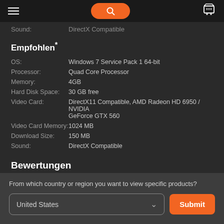Navigation bar with hamburger menu, search button, and cart icon
Sound: DirectX Compatible
Empfohlen*
| Label | Value |
| --- | --- |
| OS: | Windows 7 Service Pack 1 64-bit |
| Processor: | Quad Core Processor |
| Memory: | 4GB |
| Hard Disk Space: | 30 GB free |
| Video Card: | DirectX11 Compatible, AMD Radeon HD 6950 / NVIDIA GeForce GTX 560 |
| Video Card Memory: | 1024 MB |
| Download Size: | 150 MB |
| Sound: | DirectX Compatible |
Bewertungen
From which country or region you want to view specific products?
United States
Submit